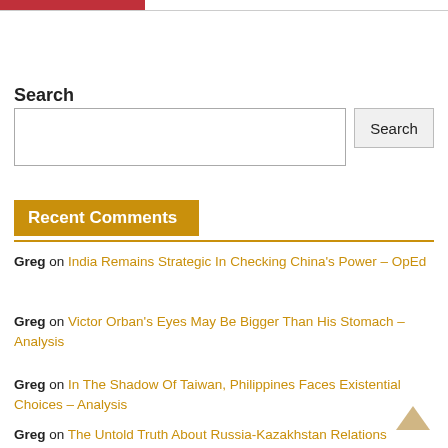[Figure (photo): Partial red/dark image at top left corner of page]
Search
Search input box with Search button
Recent Comments
Greg on India Remains Strategic In Checking China's Power – OpEd
Greg on Victor Orban's Eyes May Be Bigger Than His Stomach – Analysis
Greg on In The Shadow Of Taiwan, Philippines Faces Existential Choices – Analysis
Greg on The Untold Truth About Russia-Kazakhstan Relations And Kremlin Politics – Analysis